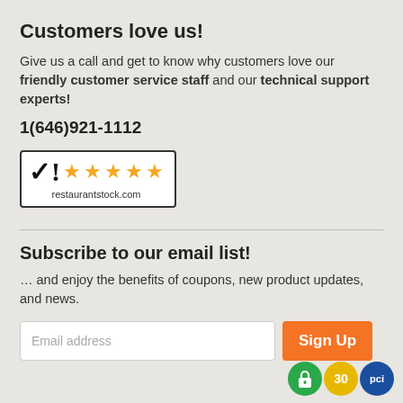Customers love us!
Give us a call and get to know why customers love our friendly customer service staff and our technical support experts!
1(646)921-1112
[Figure (logo): Five orange stars rating badge with restaurantstock.com logo and checkmark icon]
Subscribe to our email list!
… and enjoy the benefits of coupons, new product updates, and news.
[Figure (infographic): Email address input field with Sign Up orange button, and trust badge icons: green lock, gold 30-day, blue PCI badges]